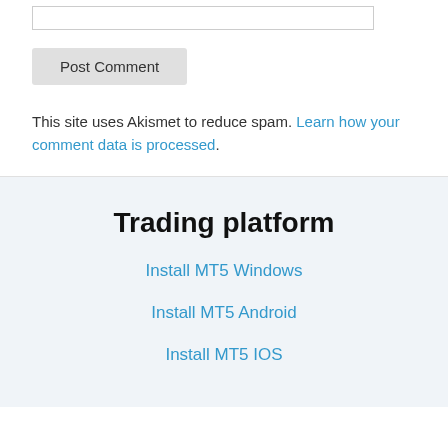[Figure (other): A text input box (form field)]
Post Comment
This site uses Akismet to reduce spam. Learn how your comment data is processed.
Trading platform
Install MT5 Windows
Install MT5 Android
Install MT5 IOS